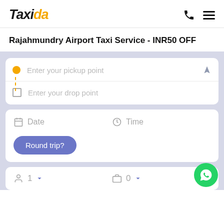[Figure (logo): Taxida logo in black italic bold text with 'da' in orange/yellow]
Rajahmundry Airport Taxi Service - INR50 OFF
[Figure (screenshot): Taxi booking form with pickup point, drop point, date, time, round trip button, passengers and luggage fields]